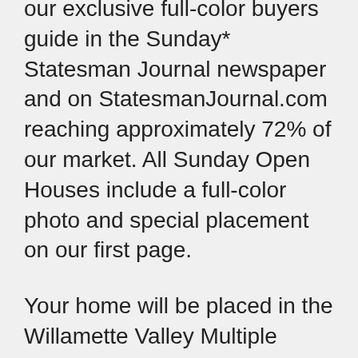our exclusive full-color buyers guide in the Sunday* Statesman Journal newspaper and on StatesmanJournal.com reaching approximately 72% of our market. All Sunday Open Houses include a full-color photo and special placement on our first page.
Your home will be placed in the Willamette Valley Multiple Listing Service. This is a sophisticated online computer service used by broker members. Agents in Salem, Keizer, Albany, Stayton, Silverton, Dallas, Independence, and the surrounding areas can access this data. Your home